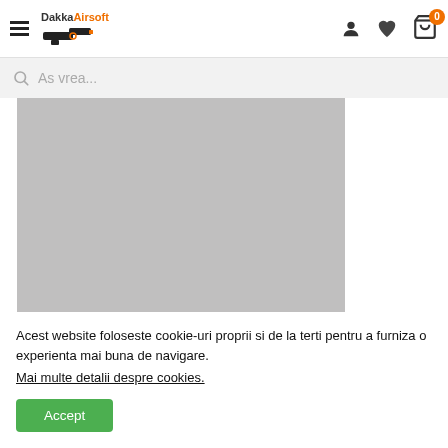DakkaAirsoft navigation header with hamburger menu, logo, user icon, heart icon, cart icon with badge 0
As vrea...
[Figure (photo): Large grey placeholder rectangle representing a product image]
Acest website foloseste cookie-uri proprii si de la terti pentru a furniza o experienta mai buna de navigare. Mai multe detalii despre cookies.
Accept